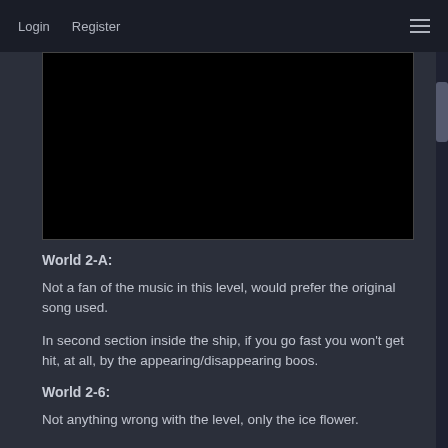Login   Register
[Figure (screenshot): Black video player embed area]
World 2-A:
Not a fan of the music in this level, would prefer the original song used.
In second section inside the ship, if you go fast you won't get hit, at all, by the appearing/disappearing boos.
World 2-6:
Not anything wrong with the level, only the ice flower.